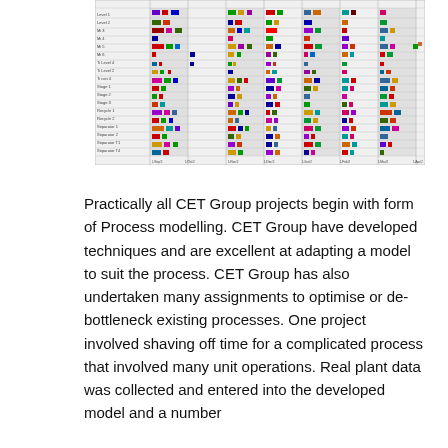[Figure (screenshot): A complex process model or Gantt-style schedule chart with colored bars and blocks representing various tasks or unit operations, with row labels on the left and time/column headers at top and bottom. The chart has multiple columns with colored rectangular markers on a white/grey grid background.]
Practically all CET Group projects begin with form of Process modelling.  CET Group have developed techniques and are excellent at adapting a model to suit the process. CET Group has also undertaken many assignments to optimise or de-bottleneck existing processes. One project involved shaving off time for a complicated process that involved many unit operations.  Real plant data was collected and entered into the developed model and a number